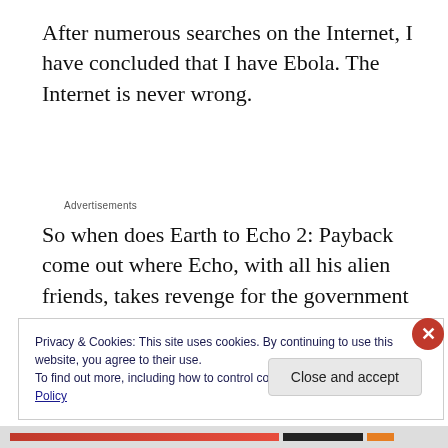After numerous searches on the Internet, I have concluded that I have Ebola. The Internet is never wrong.
Advertisements
So when does Earth to Echo 2: Payback come out where Echo, with all his alien friends, takes revenge for the government shooting him down?
Privacy & Cookies: This site uses cookies. By continuing to use this website, you agree to their use.
To find out more, including how to control cookies, see here: Cookie Policy
Close and accept